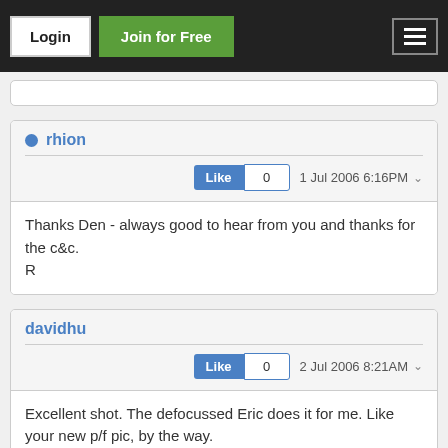Login | Join for Free
rhion
Like 0  1 Jul 2006 6:16PM
Thanks Den - always good to hear from you and thanks for the c&c.
R
davidhu
Like 0  2 Jul 2006 8:21AM
Excellent shot. The defocussed Eric does it for me. Like your new p/f pic, by the way.
Dave